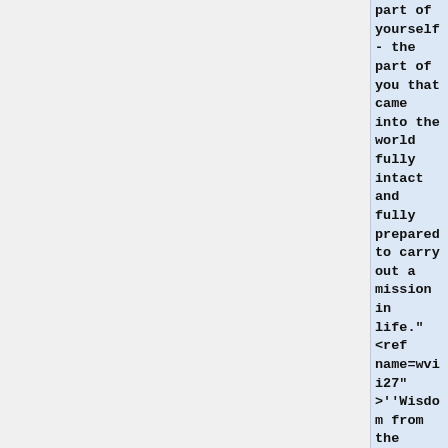part of yourself- the part of you that came into the world fully intact and fully prepared to carry out a mission in life."<ref name=wvii27">'Wisdom from the Greater Community, Volume II'', Chapter 27: [https://www.newmessage.org/the-